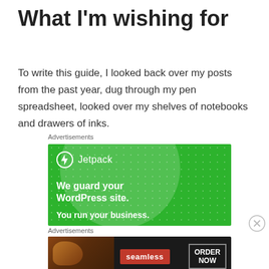What I'm wishing for
To write this guide, I looked back over my posts from the past year, dug through my pen spreadsheet, looked over my shelves of notebooks and drawers of inks.
Advertisements
[Figure (illustration): Jetpack advertisement on green background with logo, circle graphic, dot pattern, and text: 'We guard your WordPress site. You run your business.']
Advertisements
[Figure (illustration): Seamless food delivery advertisement with pizza image on dark background, red Seamless logo, and ORDER NOW button]